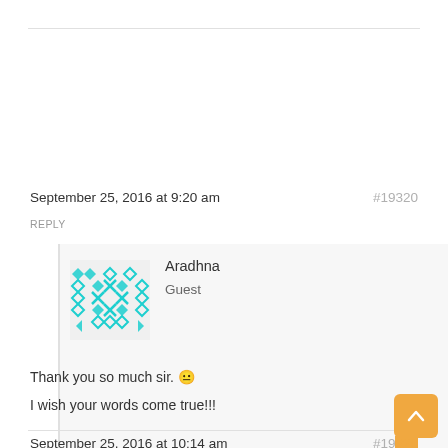September 25, 2016 at 9:20 am
#19320
REPLY
Aradhna
Guest
[Figure (illustration): User avatar with cyan geometric pattern (diamonds, X shapes, triangles) on white background]
Thank you so much sir. 😐
I wish your words come true!!!
September 25, 2016 at 10:14 am
#19...